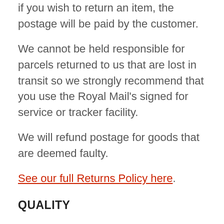if you wish to return an item, the postage will be paid by the customer.
We cannot be held responsible for parcels returned to us that are lost in transit so we strongly recommend that you use the Royal Mail's signed for service or tracker facility.
We will refund postage for goods that are deemed faulty.
See our full Returns Policy here.
QUALITY
Eskeez Ltd are committed to supplying high quality thermal clothing. The fleece fabric is designed to offer superior warmth in and heat retention to...